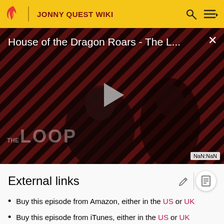JONNY QUEST WIKI
[Figure (screenshot): Video player thumbnail showing 'House of the Dragon Roars - The L...' with a play button, striped red/dark background, silhouetted figures, THE LOOP logo watermark, and NaN:NaN timestamp badge]
External links
Buy this episode from Amazon, either in the US or UK
Buy this episode from iTunes, either in the US or UK